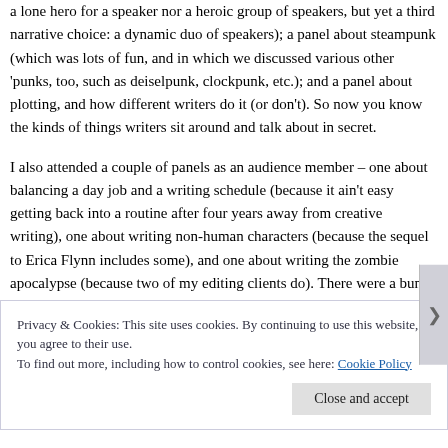a lone hero for a speaker nor a heroic group of speakers, but yet a third narrative choice: a dynamic duo of speakers); a panel about steampunk (which was lots of fun, and in which we discussed various other 'punks, too, such as deiselpunk, clockpunk, etc.); and a panel about plotting, and how different writers do it (or don't). So now you know the kinds of things writers sit around and talk about in secret.
I also attended a couple of panels as an audience member – one about balancing a day job and a writing schedule (because it ain't easy getting back into a routine after four years away from creative writing), one about writing non-human characters (because the sequel to Erica Flynn includes some), and one about writing the zombie apocalypse (because two of my editing clients do). There were a bunch more I *wanted* to attend, but they were at the same times as the
Privacy & Cookies: This site uses cookies. By continuing to use this website, you agree to their use.
To find out more, including how to control cookies, see here: Cookie Policy